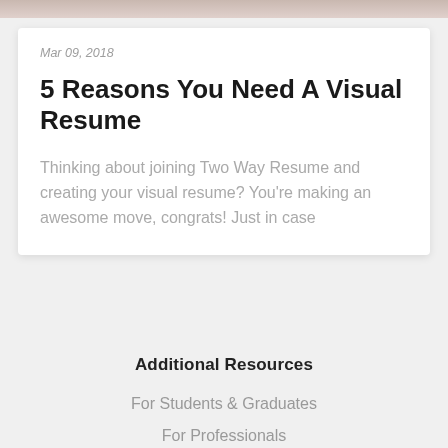[Figure (photo): Top image strip showing partial photographs]
Mar 09, 2018
5 Reasons You Need A Visual Resume
Thinking about joining Two Way Resume and creating your visual resume? You're making an awesome move, congrats! Just in case
Additional Resources
For Students & Graduates
For Professionals